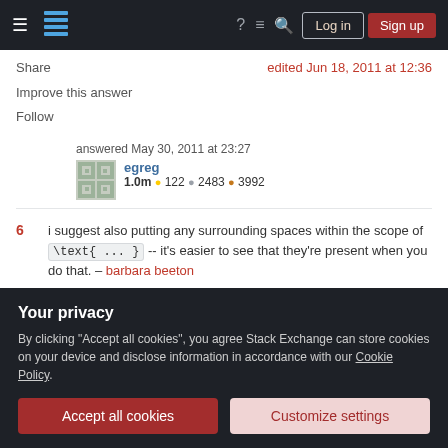Stack Exchange navigation bar with Log in and Sign up buttons
Share
Improve this answer
Follow
edited Jun 18, 2011 at 12:36
answered May 30, 2011 at 23:27
egreg
1.0m  122  2483  3992
6  i suggest also putting any surrounding spaces within the scope of \text{ ... } -- it's easier to see that they're present when you do that. -- barbara beeton
Your privacy
By clicking "Accept all cookies", you agree Stack Exchange can store cookies on your device and disclose information in accordance with our Cookie Policy.
Accept all cookies   Customize settings
– Yan Zhou Jun 18, 2011 at 10:31